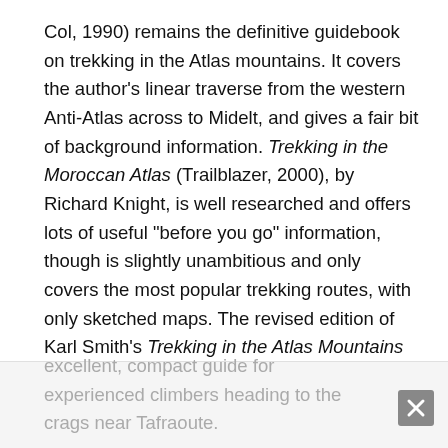Col, 1990) remains the definitive guidebook on trekking in the Atlas mountains. It covers the author's linear traverse from the western Anti-Atlas across to Midelt, and gives a fair bit of background information. Trekking in the Moroccan Atlas (Trailblazer, 2000), by Richard Knight, is well researched and offers lots of useful "before you go" information, though is slightly unambitious and only covers the most popular trekking routes, with only sketched maps. The revised edition of Karl Smith's Trekking in the Atlas Mountains (Cicerone, 2004) is a compact, waterproof guide with route descriptions of some Toubkal, Mgoun, and Sahro treks, unfortunately with hardly any maps. Climbing in the Moroccan Anti-Atlas (Cicerone, 2004), by Claude Davies, is an excellent, compact guide for experienced climbers heading to the crags near Tafraoute.